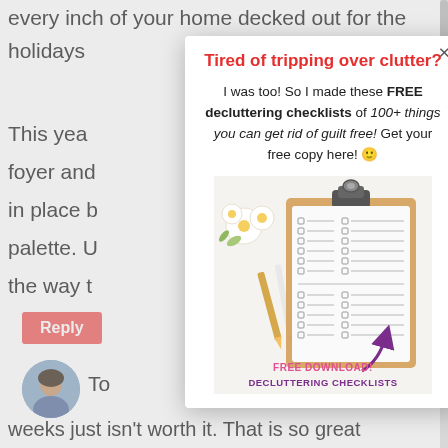every inch of your home decked out for the holidays
This year
foyer and
in place b
palette. U
the way t
Tired of tripping over clutter?
I was too! So I made these FREE decluttering checklists of 100+ things you can get rid of guilt free! Get your free copy here! 🙂
[Figure (photo): Photo of a clipboard with checklist papers, flowers, and pens on a white background. Text overlay reads 'FREE DOWNLOAD! DECLUTTERING CHECKLISTS']
Reply
[Figure (photo): Small circular avatar photo of a woman with dark hair]
To
weeks just isn't worth it. That is so great